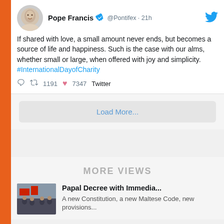[Figure (screenshot): Tweet from Pope Francis (@Pontifex) posted 21h ago, with tweet text: 'If shared with love, a small amount never ends, but becomes a source of life and happiness. Such is the case with our alms, whether small or large, when offered with joy and simplicity. #InternationalDayofCharity', showing 1191 retweets and 7347 likes.]
If shared with love, a small amount never ends, but becomes a source of life and happiness. Such is the case with our alms, whether small or large, when offered with joy and simplicity. #InternationalDayofCharity
Load More...
MORE VIEWS
Papal Decree with Immedia...
A new Constitution, a new Maltese Code, new provisions...